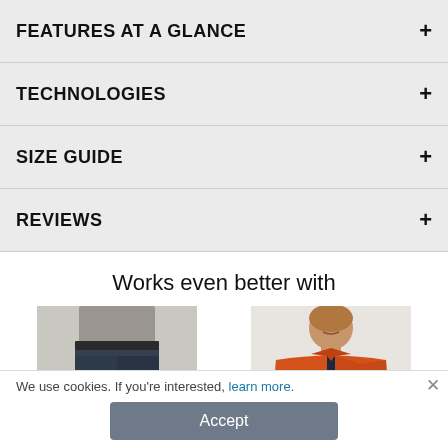FEATURES AT A GLANCE +
TECHNOLOGIES +
SIZE GUIDE +
REVIEWS +
Works even better with
[Figure (photo): Navy blue dress pants on a person, cropped at waist]
[Figure (photo): Woman wearing an orange zip-up jacket over dark shirt]
We use cookies. If you're interested, learn more.
Accept